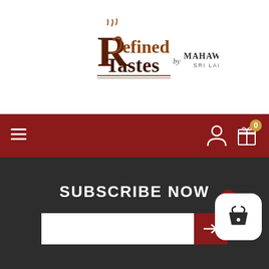[Figure (logo): Refined Tastes by Mahaweli Reach Sri Lanka logo]
[Figure (screenshot): Dark red navigation bar with hamburger menu icon on left, user icon and gift icon with badge '0' on right]
SUBSCRIBE NOW
[Figure (screenshot): Email subscription input field with dark red arrow submit button]
RestaurantsEye, E-commerce Solution by eMarketingEye